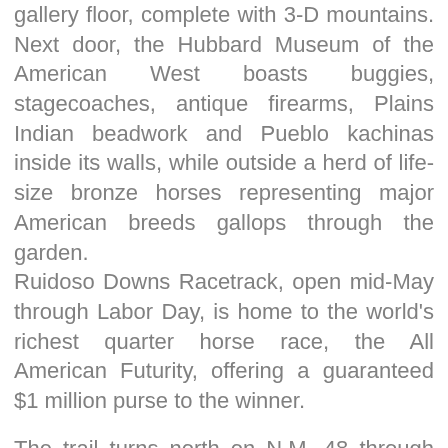gallery floor, complete with 3-D mountains. Next door, the Hubbard Museum of the American West boasts buggies, stagecoaches, antique firearms, Plains Indian beadwork and Pueblo kachinas inside its walls, while outside a herd of life-size bronze horses representing major American breeds gallops through the garden. Ruidoso Downs Racetrack, open mid-May through Labor Day, is home to the world's richest quarter horse race, the All American Futurity, offering a guaranteed $1 million purse to the winner.
The trail turns north on N.M. 48 through rustic Ruidoso, Spanish for the noisy water rushing in the river along its main drag. Snowy Sierra Blanca at 12,003 feet